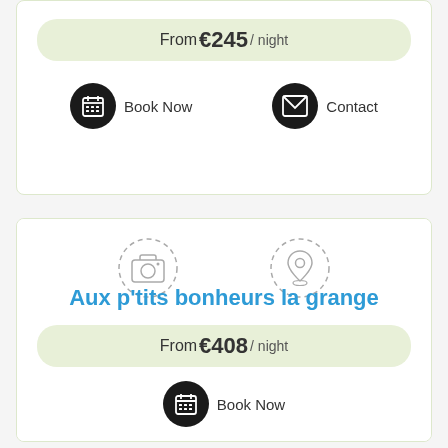From €245 / night
Book Now
Contact
[Figure (illustration): Placeholder image area with dashed camera icon and dashed map pin icon]
Aux p'tits bonheurs la grange
From €408 / night
Book Now